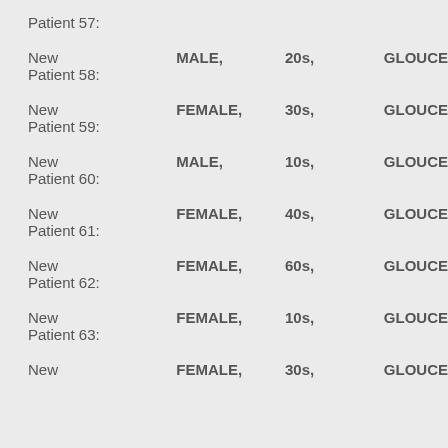Patient 57:
New  MALE,  20s,  GLOUCE
Patient 58:
New  FEMALE,  30s,  GLOUCE
Patient 59:
New  MALE,  10s,  GLOUCE
Patient 60:
New  FEMALE,  40s,  GLOUCE
Patient 61:
New  FEMALE,  60s,  GLOUCE
Patient 62:
New  FEMALE,  10s,  GLOUCE
Patient 63:
New  FEMALE,  30s,  GLOUCE